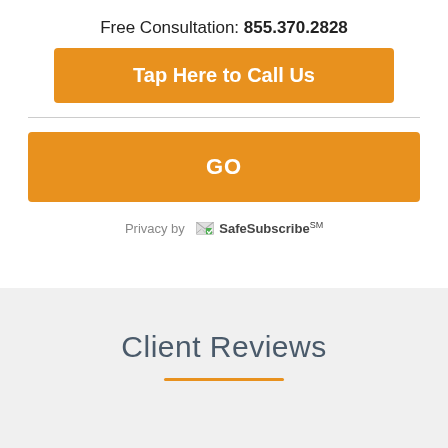Free Consultation: 855.370.2828
Tap Here to Call Us
GO
Privacy by SafeSubscribe℠
Client Reviews